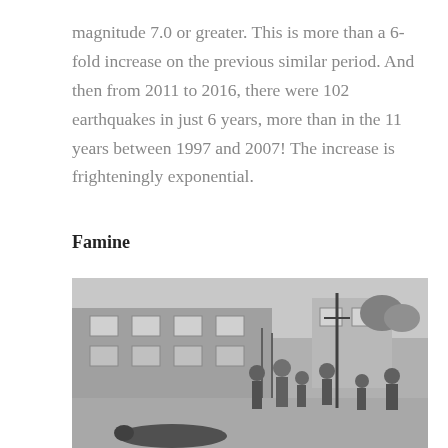magnitude 7.0 or greater. This is more than a 6-fold increase on the previous similar period. And then from 2011 to 2016, there were 102 earthquakes in just 6 years, more than in the 11 years between 1997 and 2007! The increase is frighteningly exponential.
Famine
[Figure (photo): Black and white historical photograph showing a group of people, including children and adults, gathered outside a brick building on a street. A person lies on the ground in the foreground. The scene appears to depict famine-era suffering.]